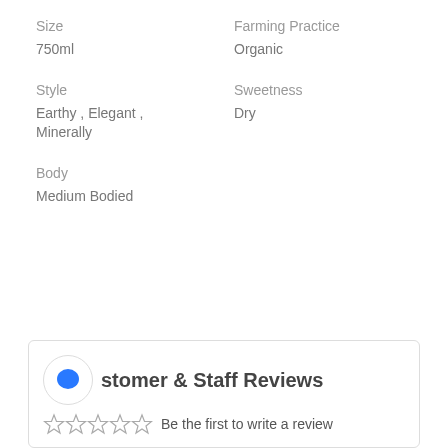Size
750ml
Farming Practice
Organic
Style
Earthy , Elegant , Minerally
Sweetness
Dry
Body
Medium Bodied
Customer & Staff Reviews
Be the first to write a review